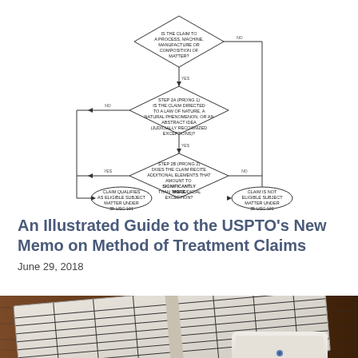[Figure (flowchart): USPTO patent eligibility flowchart with diamond decision nodes and oval outcome nodes. Step 1: Is the claim to a process, machine, manufacture or composition of matter? (No leads to right, Yes continues down). Step 2A (Prong 1): Is the claim directed to a law of nature, a natural phenomenon, or an abstract idea (judicially recognized exceptions)? (No leads left outcome, Yes continues down). Step 2A (Prong 2): Does the claim recite additional elements that amount to significantly more than the judicial exception? (Yes leads to left outcome, No leads to right outcome). Left outcome: Claim qualifies as eligible subject matter under 35 USC 101. Right outcome: Claim is not eligible subject matter under 35 USC 101.]
An Illustrated Guide to the USPTO’s New Memo on Method of Treatment Claims
June 29, 2018
[Figure (photo): Photo of an open book or textbook with grid/table content, lying on a wooden surface, with a tablet or device visible at the bottom right corner.]